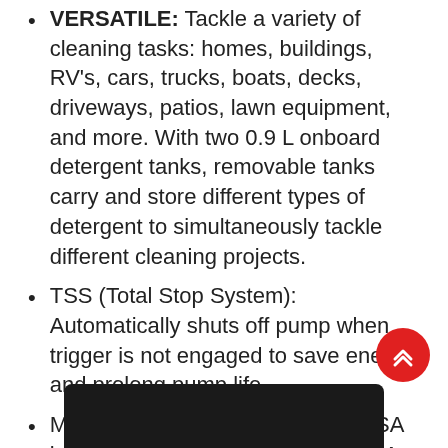VERSATILE: Tackle a variety of cleaning tasks: homes, buildings, RV's, cars, trucks, boats, decks, driveways, patios, lawn equipment, and more. With two 0.9 L onboard detergent tanks, removable tanks carry and store different types of detergent to simultaneously tackle different cleaning projects.
TSS (Total Stop System): Automatically shuts off pump when trigger is not engaged to save energy and prolong pump life.
Max PSI at initial discharge per CSA internal pressure testing. Max GPM with nozzle open at minimum pressure.
[Figure (photo): Partial image of a pressure washer product (dark colored), visible at bottom of page]